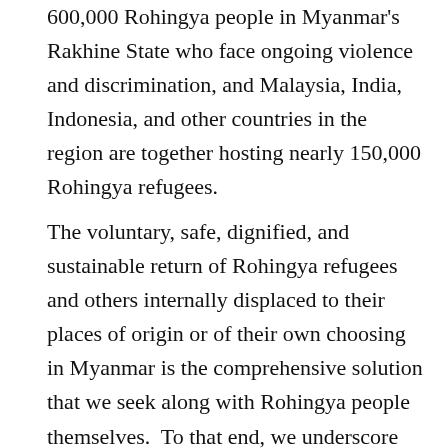600,000 Rohingya people in Myanmar's Rakhine State who face ongoing violence and discrimination, and Malaysia, India, Indonesia, and other countries in the region are together hosting nearly 150,000 Rohingya refugees.
The voluntary, safe, dignified, and sustainable return of Rohingya refugees and others internally displaced to their places of origin or of their own choosing in Myanmar is the comprehensive solution that we seek along with Rohingya people themselves.  To that end, we underscore the Secretary General's call for a global ceasefire and the cessation of fighting to enable safe and unimpeded humanitarian access to all communities in need of assistance.  To resolve the crisis in Myanmar, the Government of Myanmar must take steps to